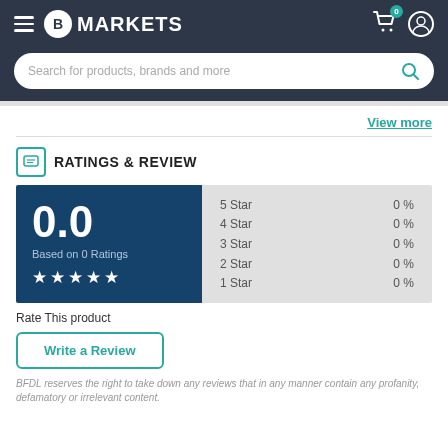B MARKETS
[Figure (screenshot): Search bar with placeholder: Search for products, brands and more]
View more
RATINGS & REVIEW
[Figure (infographic): Rating summary: 0.0 based on 0 Ratings, 5 empty stars. Star breakdown: 5 Star 0%, 4 Star 0%, 3 Star 0%, 2 Star 0%, 1 Star 0%]
Rate This product
Write a Review
BFDL reserves the right to take down any reviews that in any manner contain any profanity, defamatory or irrelevant content.